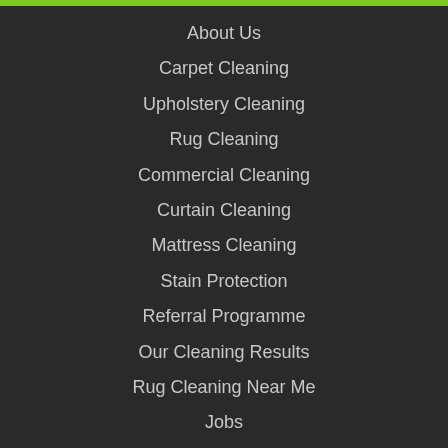About Us
Carpet Cleaning
Upholstery Cleaning
Rug Cleaning
Commercial Cleaning
Curtain Cleaning
Mattress Cleaning
Stain Protection
Referral Programme
Our Cleaning Results
Rug Cleaning Near Me
Jobs
FAQ's
Blog